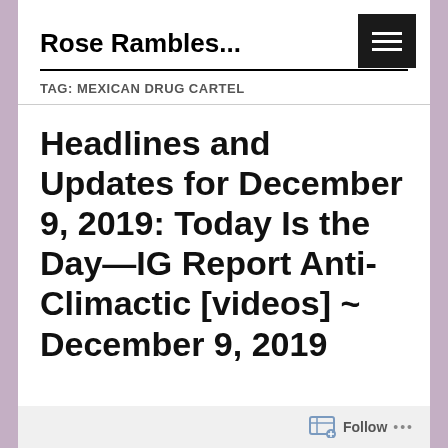Rose Rambles...
TAG: MEXICAN DRUG CARTEL
Headlines and Updates for December 9, 2019: Today Is the Day—IG Report Anti-Climactic [videos] ~ December 9, 2019
Follow ...